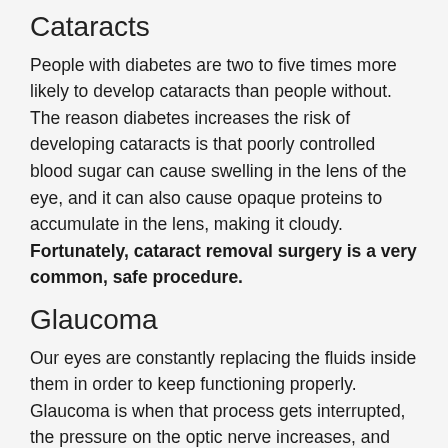Cataracts
People with diabetes are two to five times more likely to develop cataracts than people without. The reason diabetes increases the risk of developing cataracts is that poorly controlled blood sugar can cause swelling in the lens of the eye, and it can also cause opaque proteins to accumulate in the lens, making it cloudy. Fortunately, cataract removal surgery is a very common, safe procedure.
Glaucoma
Our eyes are constantly replacing the fluids inside them in order to keep functioning properly. Glaucoma is when that process gets interrupted, the pressure on the optic nerve increases, and damage occurs (up to and including permanent blindness). Diabetics are more likely to develop glaucoma, their condition may also Glau...